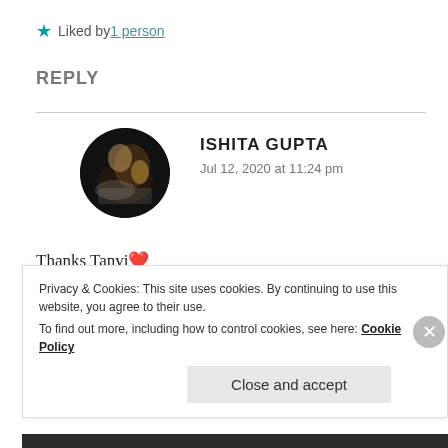★ Liked by 1 person
REPLY
ISHITA GUPTA
Jul 12, 2020 at 11:24 pm
Thanks Tanvi❣️
You are most welcome dear❤️😘
Privacy & Cookies: This site uses cookies. By continuing to use this website, you agree to their use.
To find out more, including how to control cookies, see here: Cookie Policy
Close and accept